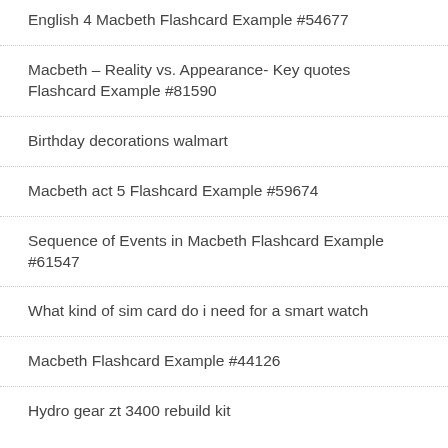English 4 Macbeth Flashcard Example #54677
Macbeth – Reality vs. Appearance- Key quotes Flashcard Example #81590
Birthday decorations walmart
Macbeth act 5 Flashcard Example #59674
Sequence of Events in Macbeth Flashcard Example #61547
What kind of sim card do i need for a smart watch
Macbeth Flashcard Example #44126
Hydro gear zt 3400 rebuild kit